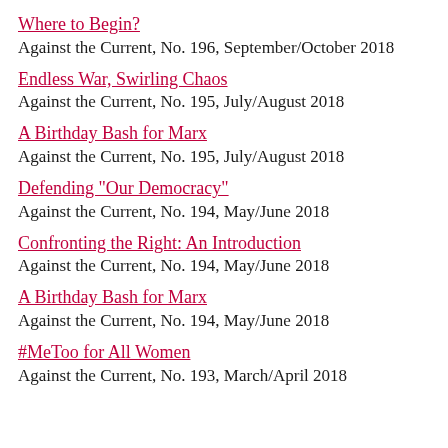Where to Begin?
Against the Current, No. 196, September/October 2018
Endless War, Swirling Chaos
Against the Current, No. 195, July/August 2018
A Birthday Bash for Marx
Against the Current, No. 195, July/August 2018
Defending "Our Democracy"
Against the Current, No. 194, May/June 2018
Confronting the Right: An Introduction
Against the Current, No. 194, May/June 2018
A Birthday Bash for Marx
Against the Current, No. 194, May/June 2018
#MeToo for All Women
Against the Current, No. 193, March/April 2018